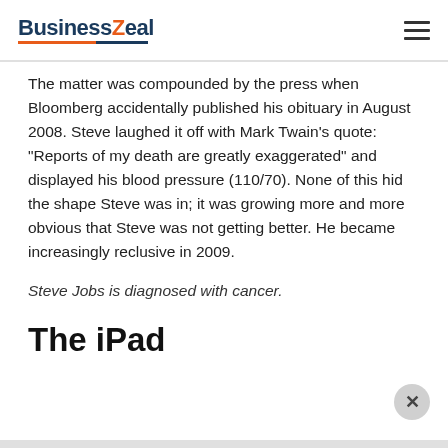BusinessZeal
The matter was compounded by the press when Bloomberg accidentally published his obituary in August 2008. Steve laughed it off with Mark Twain’s quote: “Reports of my death are greatly exaggerated” and displayed his blood pressure (110/70). None of this hid the shape Steve was in; it was growing more and more obvious that Steve was not getting better. He became increasingly reclusive in 2009.
Steve Jobs is diagnosed with cancer.
The iPad